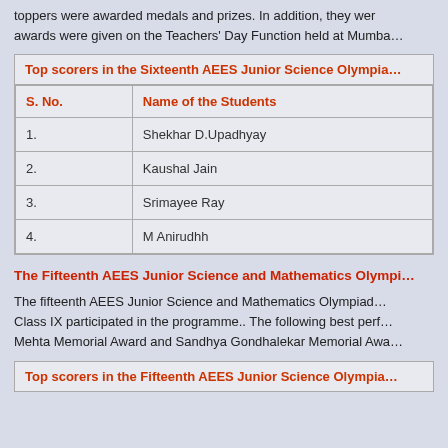toppers were awarded medals and prizes. In addition, they were awards were given on the Teachers' Day Function held at Mumba...
| S. No. | Name of the Students |
| --- | --- |
| 1. | Shekhar D.Upadhyay |
| 2. | Kaushal Jain |
| 3. | Srimayee Ray |
| 4. | M Anirudhh |
The Fifteenth AEES Junior Science and Mathematics Olympia...
The fifteenth AEES Junior Science and Mathematics Olympiad... Class IX participated in the programme.. The following best perf... Mehta Memorial Award and Sandhya Gondhalekar Memorial Awa...
Top scorers in the Fifteenth AEES Junior Science Olympia...